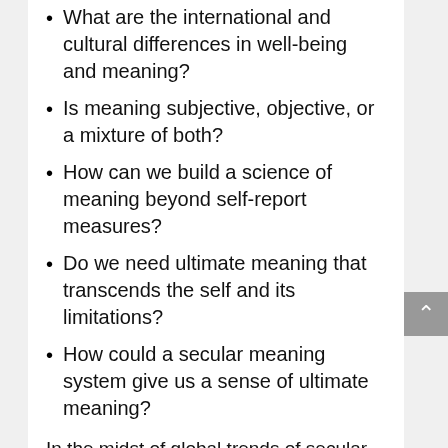What are the international and cultural differences in well-being and meaning?
Is meaning subjective, objective, or a mixture of both?
How can we build a science of meaning beyond self-report measures?
Do we need ultimate meaning that transcends the self and its limitations?
How could a secular meaning system give us a sense of ultimate meaning?
In the midst of global trends of secular materialism and sectarian religious fundamentalism, existential positive psychology, as introduced here, may offer a more promising alternative for better world. I do hope that some members of Division 52 will share